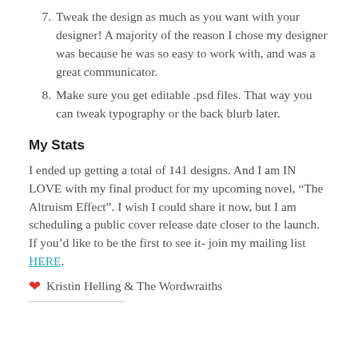7. Tweak the design as much as you want with your designer! A majority of the reason I chose my designer was because he was so easy to work with, and was a great communicator.
8. Make sure you get editable .psd files. That way you can tweak typography or the back blurb later.
My Stats
I ended up getting a total of 141 designs. And I am IN LOVE with my final product for my upcoming novel, “The Altruism Effect”. I wish I could share it now, but I am scheduling a public cover release date closer to the launch. If you’d like to be the first to see it- join my mailing list HERE.
❤ Kristin Helling & The Wordwraiths